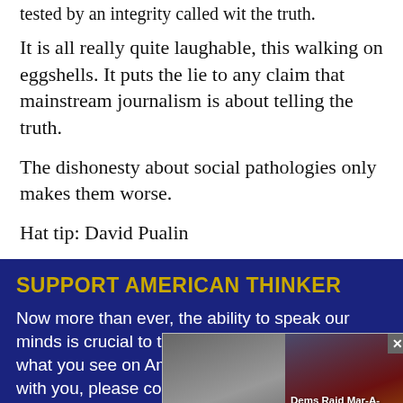tested by an integrity called wit the truth.
It is all really quite laughable, this walking on eggshells. It puts the lie to any claim that mainstream journalism is about telling the truth.
The dishonesty about social pathologies only makes them worse.
Hat tip: David Pualin
SUPPORT AMERICAN THINKER
Now more than ever, the ability to speak our minds is crucial to the republic we cherish. If what you see on American Thinker resonates with you, please consider supporting our work with a donation of as much or as little as you can give. Every dollar contributed helps us pay our staff and keep our ideas heard and our voices
Thank
[Figure (screenshot): Advertisement overlay showing two news thumbnails: 'A Tragic End Today For Willie Nelson - Breaking News' and 'Dems Raid Mar-A-Lago when They Should b... - Infected', with a close button.]